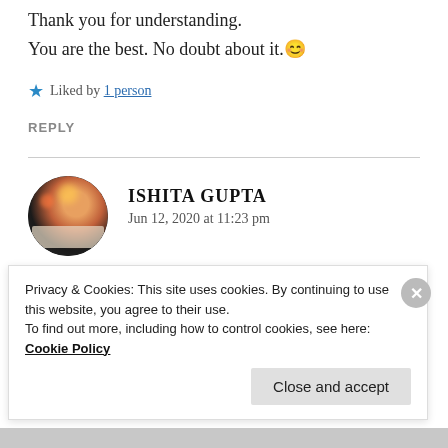Thank you for understanding. You are the best. No doubt about it. 😊
★ Liked by 1 person
REPLY
ISHITA GUPTA
Jun 12, 2020 at 11:23 pm
Thank you so much 🌸 🍀
Privacy & Cookies: This site uses cookies. By continuing to use this website, you agree to their use.
To find out more, including how to control cookies, see here: Cookie Policy
Close and accept